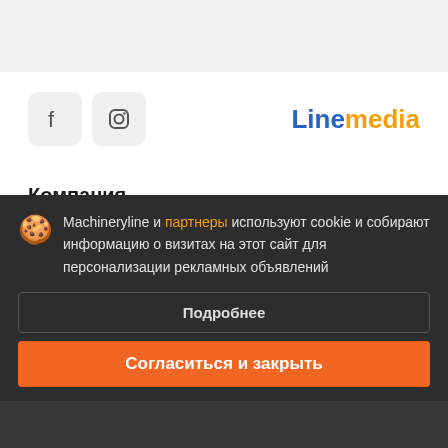[Figure (screenshot): Top grey navigation bar area of website]
[Figure (logo): Linemedia logo with 'Line' in blue and 'media' in amber/orange]
[Figure (illustration): Facebook and Instagram social media icon buttons (grey rounded squares)]
Компания
Machineryline и партнеры используют cookie и собирают информацию о визитах на этот сайт для персонализации рекламных объявлений
Подробнее
Согласиться и закрыть